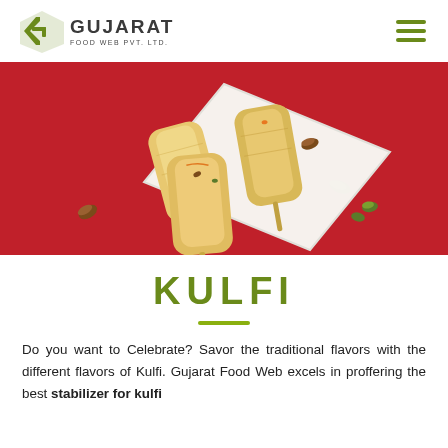Gujarat Food Web Pvt. Ltd.
[Figure (photo): Photo of kulfi ice cream pops arranged on a white square plate on a red background, with almonds and pistachios scattered around.]
KULFI
Do you want to Celebrate? Savor the traditional flavors with the different flavors of Kulfi. Gujarat Food Web excels in proffering the best stabilizer for kulfi